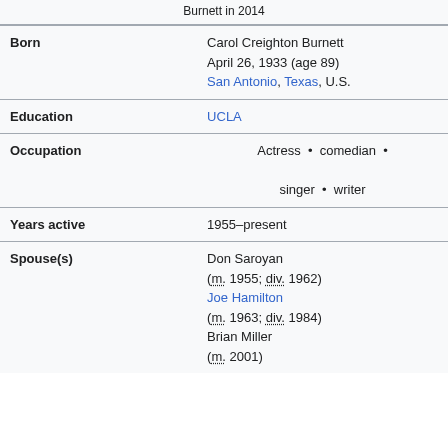Burnett in 2014
| Field | Value |
| --- | --- |
| Born | Carol Creighton Burnett
April 26, 1933 (age 89)
San Antonio, Texas, U.S. |
| Education | UCLA |
| Occupation | Actress • comedian • singer • writer |
| Years active | 1955–present |
| Spouse(s) | Don Saroyan
(m. 1955; div. 1962)
Joe Hamilton
(m. 1963; div. 1984)
Brian Miller
(m. 2001) |